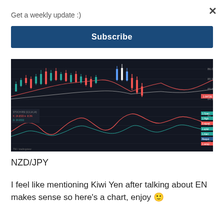Get a weekly update :)
Subscribe
[Figure (screenshot): Dark-themed trading chart showing NZD/JPY with candlestick price action on top panel and an oscillator/indicator on the bottom panel, with colored labels on the right side]
NZD/JPY
I feel like mentioning Kiwi Yen after talking about EN makes sense so here's a chart, enjoy 🙂